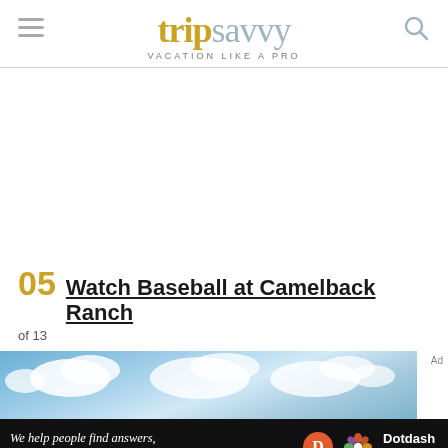tripsavvy VACATION LIKE A PRO
[Figure (other): Advertisement blank white space]
05 Watch Baseball at Camelback Ranch
of 13
[Figure (photo): Blue sky with white clouds photo strip]
[Figure (other): Dotdash Meredith advertisement banner: We help people find answers, solve problems and get inspired.]